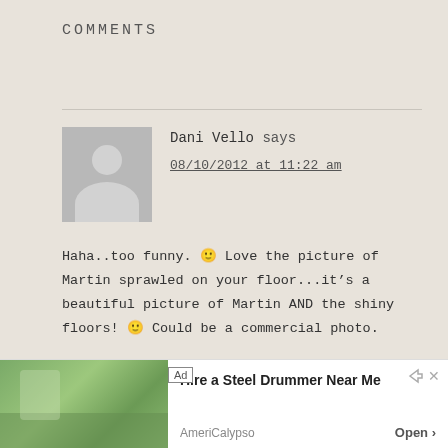COMMENTS
[Figure (illustration): Gray placeholder avatar silhouette for comment author Dani Vello]
Dani Vello says
08/10/2012 at 11:22 am
Haha..too funny. 🙂 Love the picture of Martin sprawled on your floor…it's a beautiful picture of Martin AND the shiny floors! 🙂 Could be a commercial photo.
[Figure (illustration): Gray placeholder avatar silhouette for comment author Marybeth @ Alarm Clock Wars]
Marybeth @ Alarm Clock Wars says
08/10/2012 at 1:53 pm
[Figure (screenshot): Ad banner: Hire a Steel Drummer Near Me - AmeriCalypso, Open button]